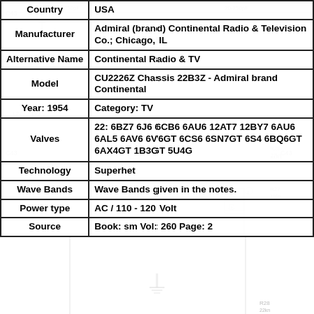| Field | Value |
| --- | --- |
| Country | USA |
| Manufacturer | Admiral (brand) Continental Radio & Television Co.; Chicago, IL |
| Alternative Name | Continental Radio & TV |
| Model | CU2226Z Chassis 22B3Z - Admiral brand Continental |
| Year: 1954 | Category: TV |
| Valves | 22: 6BZ7 6J6 6CB6 6AU6 12AT7 12BY7 6AU6 6AL5 6AV6 6V6GT 6CS6 6SN7GT 6S4 6BQ6GT 6AX4GT 1B3GT 5U4G |
| Technology | Superhet |
| Wave Bands | Wave Bands given in the notes. |
| Power type | AC / 110 - 120 Volt |
| Source | Book: sm Vol: 260 Page: 2 |
[Figure (schematic): Electronic circuit schematic diagram background showing capacitors (C43, 20-250pF), inductors (L22, L23), resistors (R28, R27), vacuum tubes (V4c 6LDI2, V4a 6LDI2), and associated wiring]